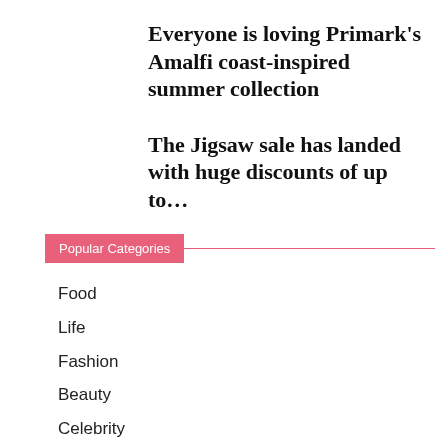Everyone is loving Primark's Amalfi coast-inspired summer collection
The Jigsaw sale has landed with huge discounts of up to...
Popular Categories
Food
Life
Fashion
Beauty
Celebrity
Interiors